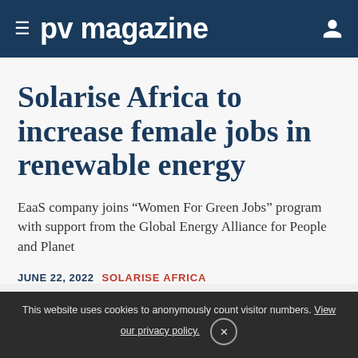≡ pv magazine
Solarise Africa to increase female jobs in renewable energy
EaaS company joins “Women For Green Jobs” program with support from the Global Energy Alliance for People and Planet
JUNE 22, 2022  SOLARISE AFRICA
This website uses cookies to anonymously count visitor numbers. View our privacy policy.